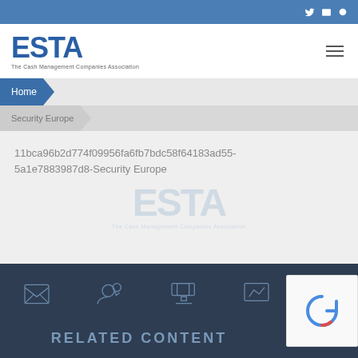ESTA - The Cash Management Companies Association
Home
Security Europe
11bca96b2d774f09956fa6fb7bdc58f64183ad55-5a1e7883987d8-Security Europe
[Figure (infographic): ESTA watermark logo in light blue]
[Figure (other): White content box placeholder]
RELATED CONTENT with footer icons
[Figure (other): reCAPTCHA widget]